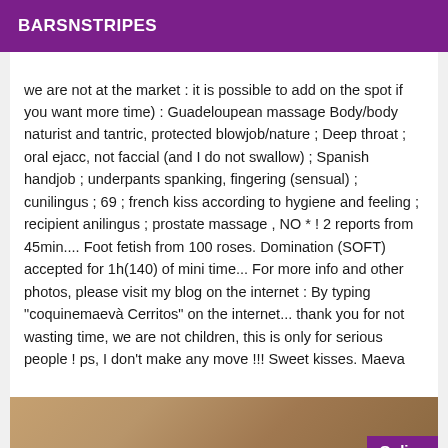BARSNSTRIPES
we are not at the market : it is possible to add on the spot if you want more time) : Guadeloupean massage Body/body naturist and tantric, protected blowjob/nature ; Deep throat ; oral ejacc, not faccial (and I do not swallow) ; Spanish handjob ; underpants spanking, fingering (sensual) ; cunilingus ; 69 ; french kiss according to hygiene and feeling ; recipient anilingus ; prostate massage , NO * ! 2 reports from 45min.... Foot fetish from 100 roses. Domination (SOFT) accepted for 1h(140) of mini time... For more info and other photos, please visit my blog on the internet : By typing "coquinemaevà Cerritos" on the internet... thank you for not wasting time, we are not children, this is only for serious people ! ps, I don't make any move !!! Sweet kisses. Maeva
[Figure (photo): Partial photo of a person with an 'Online' badge in the bottom right corner on a purple background]